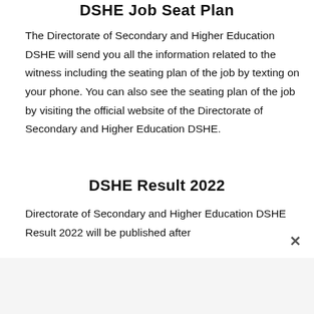DSHE Job Seat Plan
The Directorate of Secondary and Higher Education DSHE will send you all the information related to the witness including the seating plan of the job by texting on your phone. You can also see the seating plan of the job by visiting the official website of the Directorate of Secondary and Higher Education DSHE.
DSHE Result 2022
Directorate of Secondary and Higher Education DSHE Result 2022 will be published after